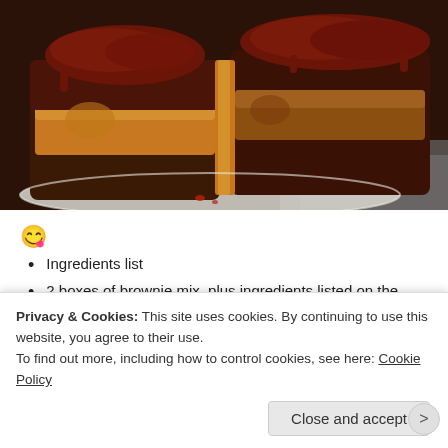[Figure (photo): Close-up photo of chocolate brownies with chocolate frosting on top, showing a cross-section revealing a yellow/orange cookie layer inside, served on a white plate on a granite countertop]
😋
Ingredients list
2 boxes of brownie mix, plus ingredients listed on the boxes
Sugar cookie mix, plus ingredients listed on box/bag
Mini oreos
Privacy & Cookies: This site uses cookies. By continuing to use this website, you agree to their use.
To find out more, including how to control cookies, see here: Cookie Policy